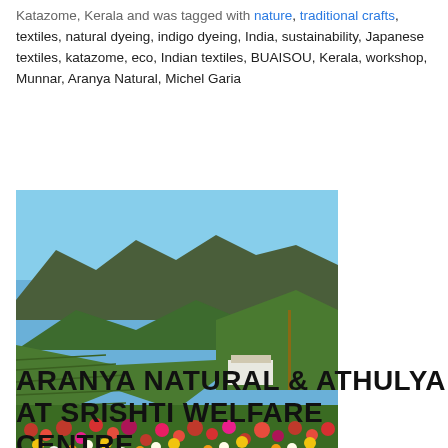Katazome, Kerala and was tagged with nature, traditional crafts, textiles, natural dyeing, indigo dyeing, India, sustainability, Japanese textiles, katazome, eco, Indian textiles, BUAISOU, Kerala, workshop, Munnar, Aranya Natural, Michel Garia
[Figure (photo): Landscape photo showing a hillside with green tea plantations and lush mountains under a clear blue sky, with a foreground of colorful blooming flowers including pink, red, yellow and white daisies/zinnias]
ARANYA NATURAL & ATHULYA AT SRISHTI WELFARE CENTRE